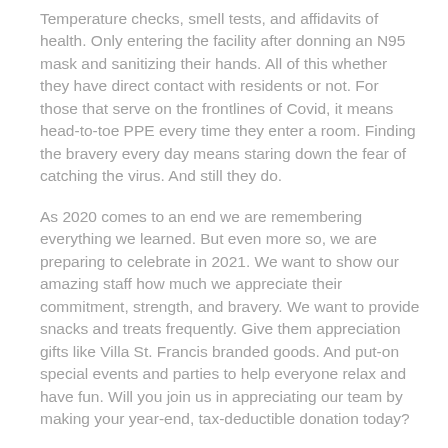Temperature checks, smell tests, and affidavits of health. Only entering the facility after donning an N95 mask and sanitizing their hands. All of this whether they have direct contact with residents or not. For those that serve on the frontlines of Covid, it means head-to-toe PPE every time they enter a room. Finding the bravery every day means staring down the fear of catching the virus. And still they do.
As 2020 comes to an end we are remembering everything we learned. But even more so, we are preparing to celebrate in 2021. We want to show our amazing staff how much we appreciate their commitment, strength, and bravery. We want to provide snacks and treats frequently. Give them appreciation gifts like Villa St. Francis branded goods. And put-on special events and parties to help everyone relax and have fun. Will you join us in appreciating our team by making your year-end, tax-deductible donation today?